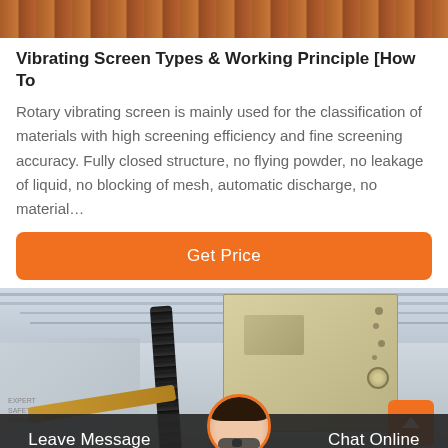[Figure (photo): Industrial machinery image, partial view at the top of page showing orange/brown mechanical equipment]
Vibrating Screen Types & Working Principle [How To
Rotary vibrating screen is mainly used for the classification of materials with high screening efficiency and fine screening accuracy. Fully closed structure, no flying powder, no leakage of liquid, no blocking of mesh, automatic discharge, no material…
[Figure (other): Orange 'Get Price' button]
[Figure (photo): Industrial vibrating screen machine inside a factory/warehouse, large beige/cream colored machine with black screw mechanism and yellow arm visible]
Leave Message
[Figure (photo): Circular avatar of a customer service representative wearing a headset]
Chat Online